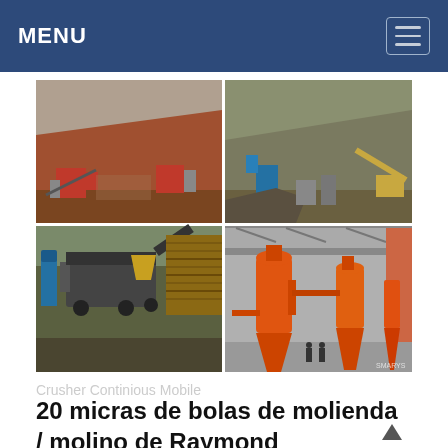MENU
[Figure (photo): Four-photo grid of industrial mining/crushing equipment: top-left shows mobile crushers at a quarry with red soil hillside; top-right shows a mining/crushing plant on a rocky hillside with blue machinery; bottom-left shows a mobile crusher/screening plant with conveyor belt and stacked timber; bottom-right shows orange Raymond mill cyclone separators inside a large industrial shed.]
20 micras de bolas de molienda / molino de Raymond